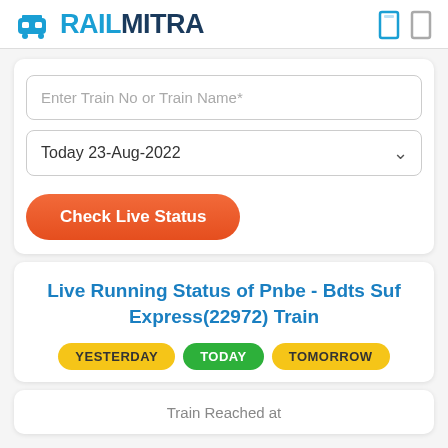RAILMITRA
Enter Train No or Train Name*
Today 23-Aug-2022
Check Live Status
Live Running Status of Pnbe - Bdts Suf Express(22972) Train
YESTERDAY  TODAY  TOMORROW
Train Reached at